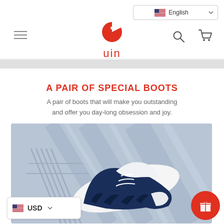English | uin
A PAIR OF SPECIAL BOOTS
A pair of boots that will make you outstanding and offer you day-long obsession and joy.
[Figure (photo): Product photo of a white and navy blue patterned shoe/boot on a blue-grey geometric background]
USD